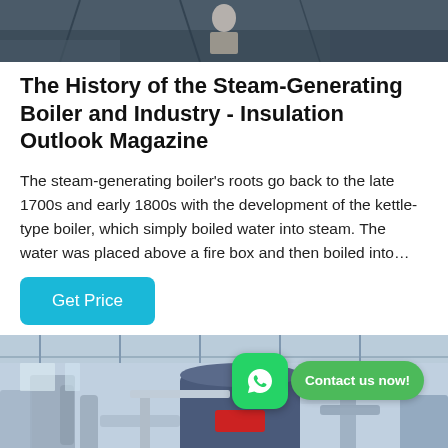[Figure (photo): Top portion of an industrial scene, partially cropped, showing workers or equipment in a dark industrial setting]
The History of the Steam-Generating Boiler and Industry - Insulation Outlook Magazine
The steam-generating boiler's roots go back to the late 1700s and early 1800s with the development of the kettle-type boiler, which simply boiled water into steam. The water was placed above a fire box and then boiled into…
[Figure (photo): Industrial boiler facility interior showing large cylindrical boilers, pipes, and industrial equipment in a warehouse-like space. A WhatsApp icon and 'Contact us now!' button overlay are visible in the upper right area of the image.]